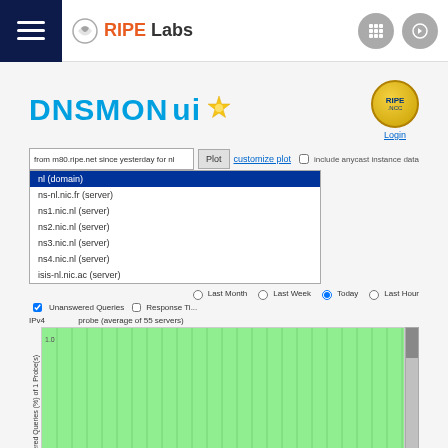[Figure (screenshot): RIPE Labs website navigation bar with hamburger menu on left, RIPE Labs logo in center-left, and two circular icon buttons (grid and arrow) on right]
[Figure (screenshot): DNSMON UI interface screenshot showing: DNSMON ui logo with beta star, RIPE NCC coin logo with Login link, a query input bar with text 'from m80.ripe.net since yesterday for nl', Plot button, Customize plot link, Include anycast instance data checkbox, a dropdown with options (nl (domain), ns-nl.nic.fr (server), ns1.nic.nl (server), ns2.nic.nl (server), ns3.nic.nl (server), ns4.nic.nl (server), isis-nl.nic.ac (server)), radio buttons for Last Month/Last Week/Today/Last Hour, chart subtitle 'IPv4 ... probe (average of 55 servers)', a green area chart with y-axis label 'Unanswered Queries (%) of 1 Probe(s)' and y-tick '1.0', and a scrollbar on the right]